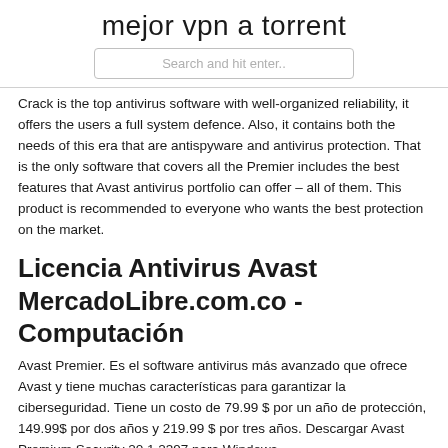mejor vpn a torrent
[Figure (other): Search box with placeholder text 'Search and hit enter..']
Crack is the top antivirus software with well-organized reliability, it offers the users a full system defence. Also, it contains both the needs of this era that are antispyware and antivirus protection. That is the only software that covers all the Premier includes the best features that Avast antivirus portfolio can offer – all of them. This product is recommended to everyone who wants the best protection on the market.
Licencia Antivirus Avast MercadoLibre.com.co - Computación
Avast Premier. Es el software antivirus más avanzado que ofrece Avast y tiene muchas características para garantizar la ciberseguridad. Tiene un costo de 79.99 $ por un año de protección, 149.99$ por dos años y 219.99 $ por tres años. Descargar Avast Premium Security 20.1.2397 para Windows.